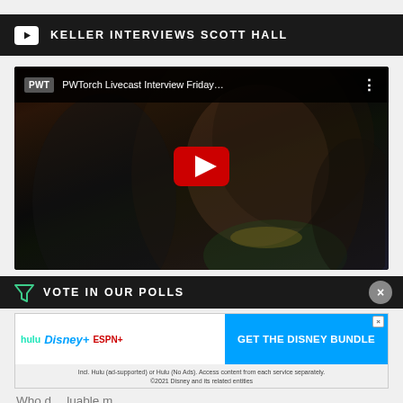KELLER INTERVIEWS SCOTT HALL
[Figure (screenshot): YouTube video thumbnail showing PWTorch Livecast Interview Friday... with a man's profile (Scott Hall) in the foreground, dark background, red YouTube play button overlay]
VOTE IN OUR POLLS
[Figure (other): Advertisement banner: hulu Disney+ ESPN+ GET THE DISNEY BUNDLE. Incl. Hulu (ad-supported) or Hulu (No Ads). Access content from each service separately. ©2021 Disney and its related entities]
Who d... luable m signing over the next year?